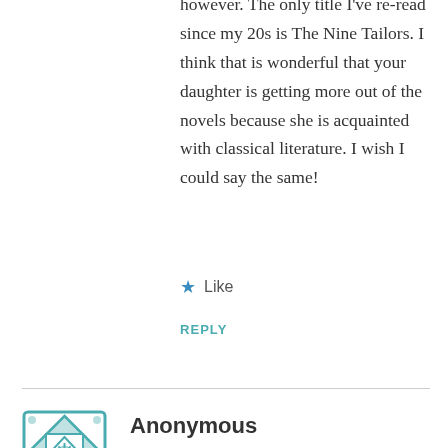however. The only title I've re-read since my 20s is The Nine Tailors. I think that is wonderful that your daughter is getting more out of the novels because she is acquainted with classical literature. I wish I could say the same!
★ Like
REPLY
Anonymous
JULY 27, 2019 AT 11:03 AM
I only have read Strong Poison and Gaudy